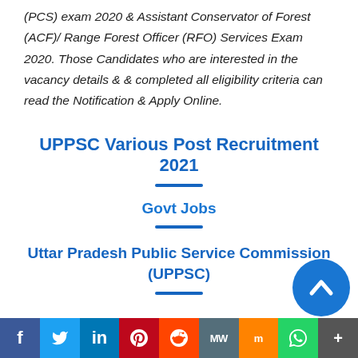(PCS) exam 2020 & Assistant Conservator of Forest (ACF)/ Range Forest Officer (RFO) Services Exam 2020. Those Candidates who are interested in the vacancy details & & completed all eligibility criteria can read the Notification & Apply Online.
UPPSC Various Post Recruitment 2021
Govt Jobs
Uttar Pradesh Public Service Commission (UPPSC)
f | Twitter | in | P | Reddit | MW | Mix | WhatsApp | More